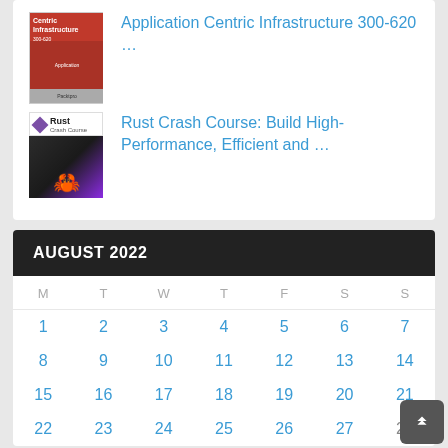[Figure (illustration): Book thumbnail: Application Centric Infrastructure red cover]
Application Centric Infrastructure 300-620 …
[Figure (illustration): Book thumbnail: Rust Crash Course with purple diamond logo and crab image]
Rust Crash Course: Build High-Performance, Efficient and …
| M | T | W | T | F | S | S |
| --- | --- | --- | --- | --- | --- | --- |
| 1 | 2 | 3 | 4 | 5 | 6 | 7 |
| 8 | 9 | 10 | 11 | 12 | 13 | 14 |
| 15 | 16 | 17 | 18 | 19 | 20 | 21 |
| 22 | 23 | 24 | 25 | 26 | 27 | 28 |